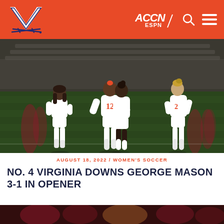UVA Athletics – ACCN ESPN navigation bar
[Figure (photo): Virginia women's soccer players in white uniforms celebrating on a dark soccer field at night, one player wearing number 12 embracing a teammate]
AUGUST 18, 2022 / WOMEN'S SOCCER
NO. 4 VIRGINIA DOWNS GEORGE MASON 3-1 IN OPENER
[Figure (photo): Partial view of another soccer match photo at the bottom of the page]